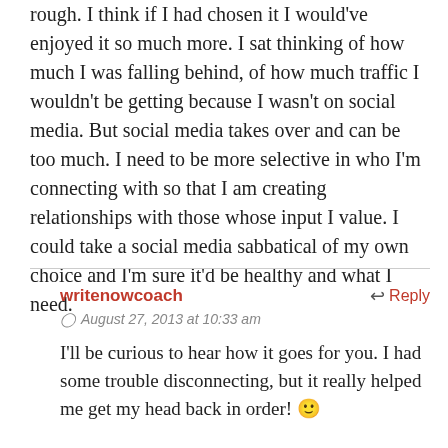rough. I think if I had chosen it I would've enjoyed it so much more. I sat thinking of how much I was falling behind, of how much traffic I wouldn't be getting because I wasn't on social media. But social media takes over and can be too much. I need to be more selective in who I'm connecting with so that I am creating relationships with those whose input I value. I could take a social media sabbatical of my own choice and I'm sure it'd be healthy and what I need.
writenowcoach
August 27, 2013 at 10:33 am
I'll be curious to hear how it goes for you. I had some trouble disconnecting, but it really helped me get my head back in order! 🙂